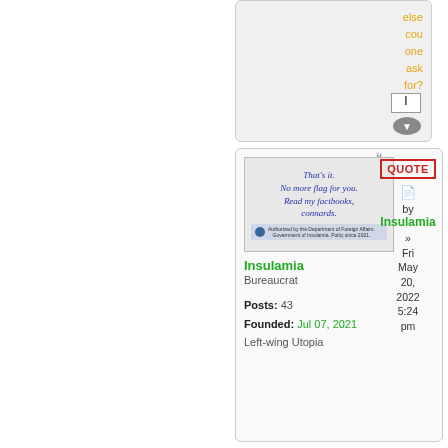else
cou
one
ask
for?
[Figure (screenshot): Forum post panel showing a flag image with italic blue text 'That's it. No more flag for you. Read my factbooks, connards.' with a blue footer bar.]
Insulamia
Bureaucrat
Posts: 43
Founded: Jul 07, 2021
Left-wing Utopia
QUOTE by Insulamia » Fri May 20, 2022 5:24 pm